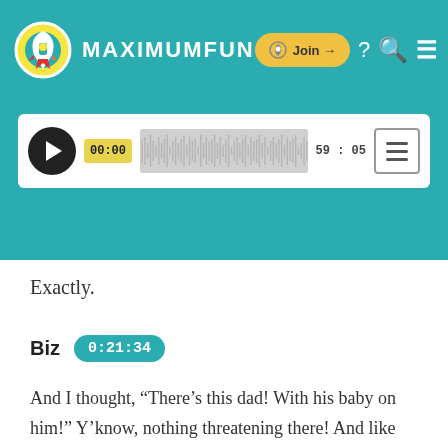[Figure (screenshot): MaximumFun website header with logo (rocket in circle), site name MAXIMUMFUN, Join button, and navigation icons on teal background]
[Figure (screenshot): Audio player with play button, timestamp 00:00, waveform visualization, end time 59:05, and menu button]
Exactly.
Biz  0:21:34
And I thought, “There’s this dad! With his baby on him!” Y’know, nothing threatening there! And like [Laughs.] And I love it. Because what I like about last picture is that the dad still looks completely okay